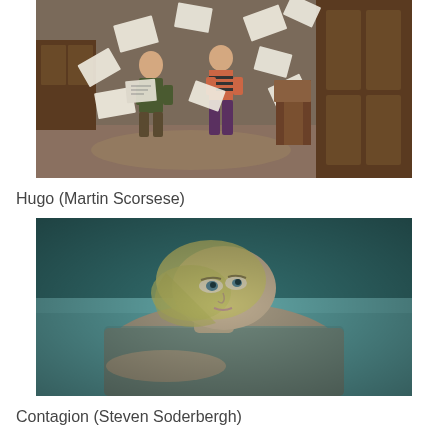[Figure (photo): Movie still from Hugo (Martin Scorsese): Two children standing in a room surrounded by papers flying through the air, with wooden furniture in the background.]
Hugo (Martin Scorsese)
[Figure (photo): Movie still from Contagion (Steven Soderbergh): A blonde woman lying in a hospital bed, appearing ill, with teal/blue-green lighting.]
Contagion (Steven Soderbergh)